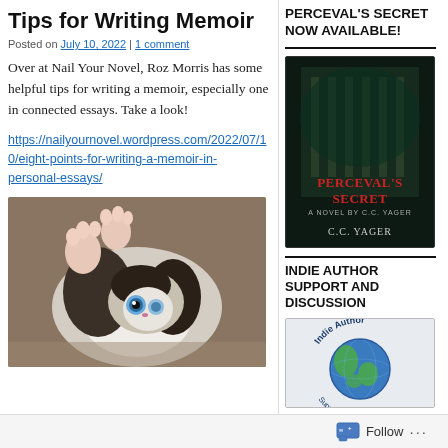Tips for Writing Memoir
Posted on July 10, 2022 | 1 comment
Over at Nail Your Novel, Roz Morris has some helpful tips for writing a memoir, especially one in connected essays. Take a look!
https://nailyournovel.wordpress.com/2022/07/10/eight-points-for-writing-a-memoir-in-personal-essays/
[Figure (photo): A playful kitten lying on its back on a tan surface, looking up at the camera with wide blue eyes, paws raised.]
PERCEVAL'S SECRET NOW AVAILABLE!
[Figure (photo): Book cover of 'Perceval's Secret' by C.C. Yager, featuring a dark atmospheric image of a building with the title in red text.]
INDIE AUTHOR SUPPORT AND DISCUSSION
[Figure (logo): Indie Author logo featuring a globe with text around it.]
Follow